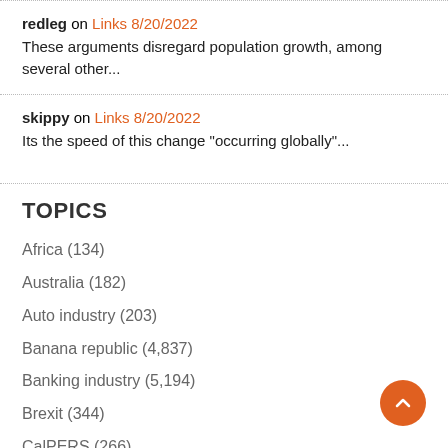redleg on Links 8/20/2022
These arguments disregard population growth, among several other...
skippy on Links 8/20/2022
Its the speed of this change "occurring globally"...
TOPICS
Africa (134)
Australia (182)
Auto industry (203)
Banana republic (4,837)
Banking industry (5,194)
Brexit (344)
CalPERS (266)
Carbon credits (42)